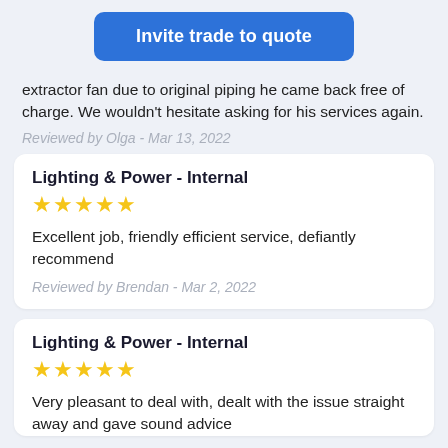Invite trade to quote
extractor fan due to original piping he came back free of charge. We wouldn't hesitate asking for his services again.
Reviewed by Olga - Mar 13, 2022
Lighting & Power - Internal
★★★★★
Excellent job, friendly efficient service, defiantly recommend
Reviewed by Brendan - Mar 2, 2022
Lighting & Power - Internal
★★★★★
Very pleasant to deal with, dealt with the issue straight away and gave sound advice